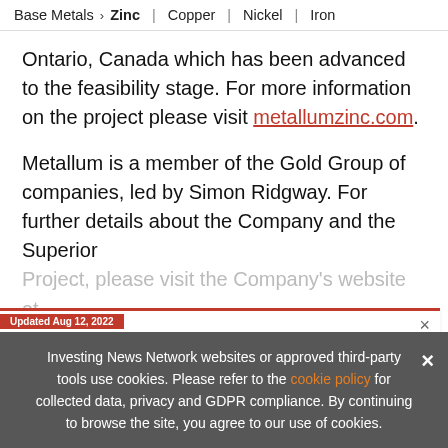Base Metals > Zinc | Copper | Nickel | Iron
Ontario, Canada which has been advanced to the feasibility stage. For more information on the project please visit metallumzinc.com.
Metallum is a member of the Gold Group of companies, led by Simon Ridgway. For further details about the Company and the Superior Project, please visit the Company's website at met...
[Figure (screenshot): Ad banner: Updated Aug 12, 2022. Zinc Outlook 2022 book cover. TOP ZINC Stocks, Trends, Forecasts. 2022 Zinc Outlook Report. INN logo.]
Investing News Network websites or approved third-party tools use cookies. Please refer to the cookie policy for collected data, privacy and GDPR compliance. By continuing to browse the site, you agree to our use of cookies.